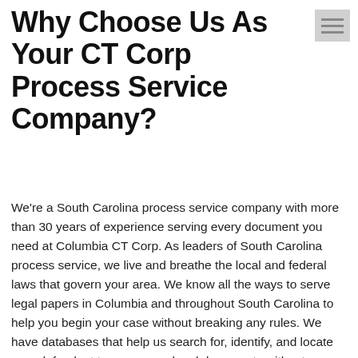Why Choose Us As Your CT Corp Process Service Company?
We're a South Carolina process service company with more than 30 years of experience serving every document you need at Columbia CT Corp. As leaders of South Carolina process service, we live and breathe the local and federal laws that govern your area. We know all the ways to serve legal papers in Columbia and throughout South Carolina to help you begin your case without breaking any rules. We have databases that help us search for, identify, and locate your defendant to serve your legal documents without trespassing or stepping out of bounds on your behalf. Serve all legal documents fast and effectively by working with our Columbia South Carolina CT Corp process service experts.